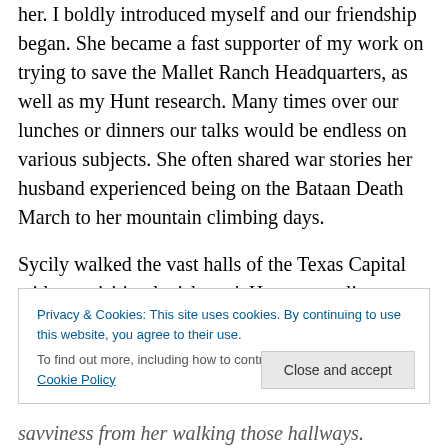her. I boldly introduced myself and our friendship began. She became a fast supporter of my work on trying to save the Mallet Ranch Headquarters, as well as my Hunt research. Many times over our lunches or dinners our talks would be endless on various subjects. She often shared war stories her husband experienced being on the Bataan Death March to her mountain climbing days.
Sycily walked the vast halls of the Texas Capital with me visiting legislators'. Her personality opened doors and hearts that never would've been opened had she not been
Privacy & Cookies: This site uses cookies. By continuing to use this website, you agree to their use.
To find out more, including how to control cookies, see here: Cookie Policy
Close and accept
savviness from her walking those hallways.